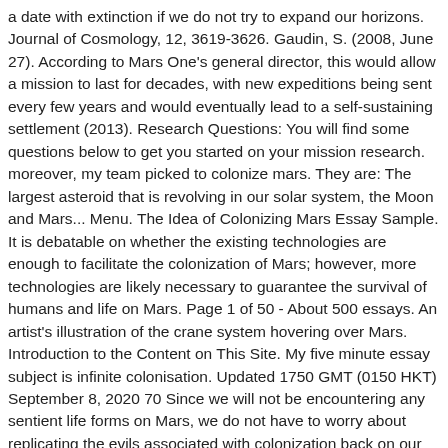a date with extinction if we do not try to expand our horizons. Journal of Cosmology, 12, 3619-3626. Gaudin, S. (2008, June 27). According to Mars One's general director, this would allow a mission to last for decades, with new expeditions being sent every few years and would eventually lead to a self-sustaining settlement (2013). Research Questions: You will find some questions below to get you started on your mission research. moreover, my team picked to colonize mars. They are: The largest asteroid that is revolving in our solar system, the Moon and Mars... Menu. The Idea of Colonizing Mars Essay Sample. It is debatable on whether the existing technologies are enough to facilitate the colonization of Mars; however, more technologies are likely necessary to guarantee the survival of humans and life on Mars. Page 1 of 50 - About 500 essays. An artist's illustration of the crane system hovering over Mars. Introduction to the Content on This Site. My five minute essay subject is infinite colonisation. Updated 1750 GMT (0150 HKT) September 8, 2020 70 Since we will not be encountering any sentient life forms on Mars, we do not have to worry about replicating the evils associated with colonization back on our own planet. Colonizing Mars. What has never been disputed is how an expedition to Mars is a momentous undertaking, with high risks and unknown